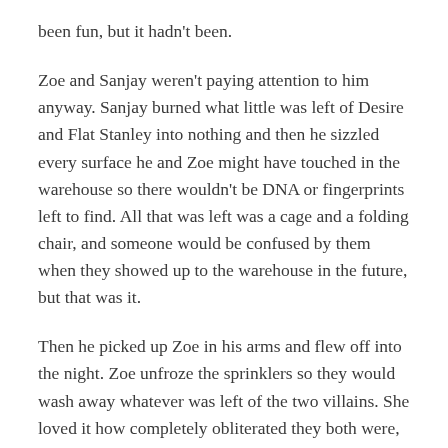been fun, but it hadn't been.
Zoe and Sanjay weren't paying attention to him anyway. Sanjay burned what little was left of Desire and Flat Stanley into nothing and then he sizzled every surface he and Zoe might have touched in the warehouse so there wouldn't be DNA or fingerprints left to find. All that was left was a cage and a folding chair, and someone would be confused by them when they showed up to the warehouse in the future, but that was it.
Then he picked up Zoe in his arms and flew off into the night. Zoe unfroze the sprinklers so they would wash away whatever was left of the two villains. She loved it how completely obliterated they both were, it was like they had never existed at all, really. They left nothing behind them, not a trace. They existed